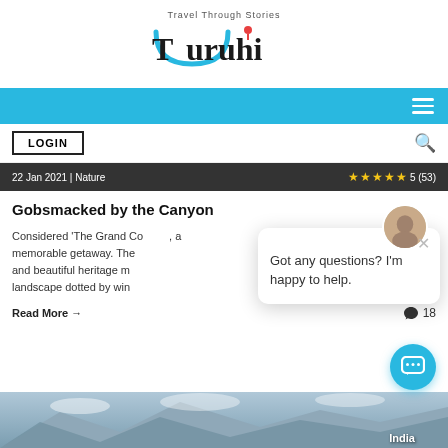[Figure (logo): Turuhi travel blog logo with tagline 'Travel Through Stories']
[Figure (other): Blue navigation bar with hamburger menu icon]
LOGIN
22 Jan 2021 | Nature   ★★★★★ 5 (53)
Gobsmacked by the Canyon
Considered 'The Grand Co... memorable getaway. The... and beautiful heritage m... landscape dotted by win...
Read More →   💬 18
[Figure (other): Chat popup with avatar, close button, and message: Got any questions? I'm happy to help.]
[Figure (other): Bottom image strip with India label]